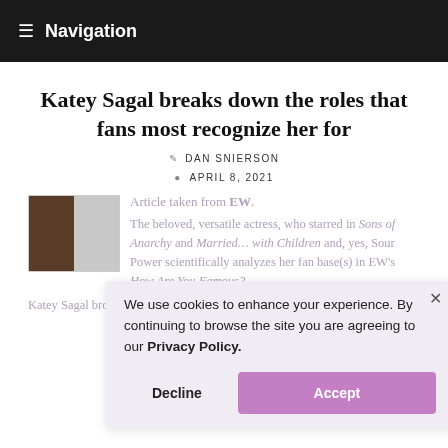≡ Navigation
Katey Sagal breaks down the roles that fans most recognize her for
DAN SNIERSON
APRIL 8, 2021
Article taken from EW.

The beloved, versatile actress, who starred in Sons of Anarchy and Married… with Children and, yes, Sour Power scientifically analyzes her fan base(s) in EW's How Are You Famous?

Katey Sagal broke through in comedy — and then she broke out in drama.
We use cookies to enhance your experience. By continuing to browse the site you are agreeing to our Privacy Policy.
Decline   Accept